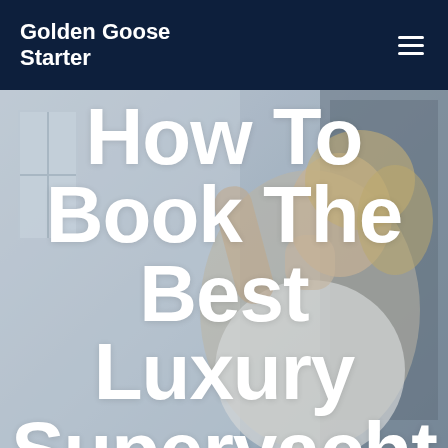Golden Goose Starter
[Figure (photo): Background photo of a woman with blonde hair pulled back, wearing a white top, looking upward to the right. The setting appears to be an interior space with light-colored walls and windows. The image has a muted, slightly desaturated blue-grey tone.]
How To Book The Best Luxury Superyacht